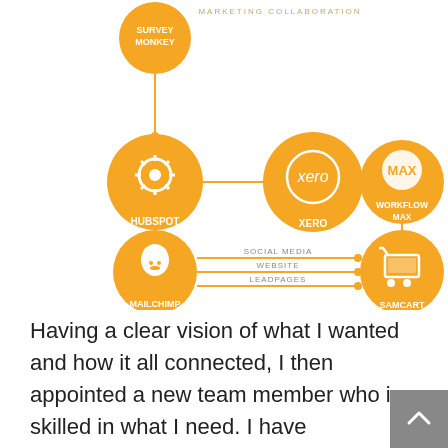[Figure (network-graph): Marketing collaboration diagram showing interconnected software tools: SurveyMonkey at top, connected to HubSpot and Xero in the middle row, Xero also connected to WorkflowMax on the right, HubSpot connected down to MailChimp, WorkflowMax connected down to Samcart, MailChimp connected to Samcart via three labeled lines: SOCIAL MEDIA, WEBSITE, LEADPAGES. All nodes are orange circles with white icons/text. Title: MARKETING COLLABORATION.]
Having a clear vision of what I wanted and how it all connected, I then appointed a new team member who is skilled in what I need. I have